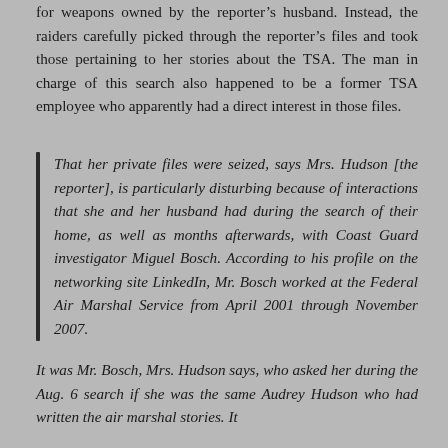for weapons owned by the reporter's husband. Instead, the raiders carefully picked through the reporter's files and took those pertaining to her stories about the TSA. The man in charge of this search also happened to be a former TSA employee who apparently had a direct interest in those files.
That her private files were seized, says Mrs. Hudson [the reporter], is particularly disturbing because of interactions that she and her husband had during the search of their home, as well as months afterwards, with Coast Guard investigator Miguel Bosch. According to his profile on the networking site LinkedIn, Mr. Bosch worked at the Federal Air Marshal Service from April 2001 through November 2007.
It was Mr. Bosch, Mrs. Hudson says, who asked her during the Aug. 6 search if she was the same Audrey Hudson who had written the air marshal stories. It seems Mr. Bosch also...